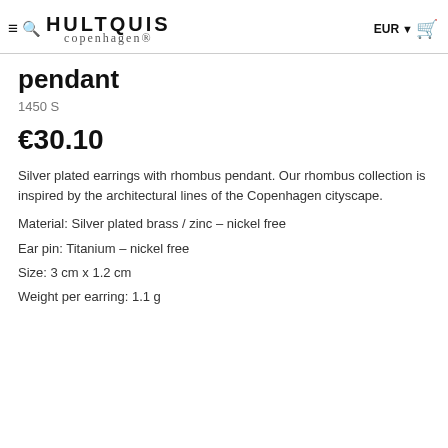HULTQUIS copenhagen® EUR 0
pendant
1450 S
€30.10
Silver plated earrings with rhombus pendant. Our rhombus collection is inspired by the architectural lines of the Copenhagen cityscape.
Material: Silver plated brass / zinc – nickel free
Ear pin: Titanium – nickel free
Size: 3 cm x 1.2 cm
Weight per earring: 1.1 g